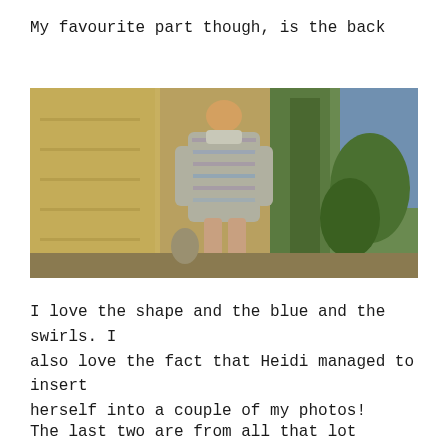My favourite part though, is the back
[Figure (photo): A woman seen from behind wearing a patterned blue/grey/beige jacket or coat, standing in a garden setting with stone walls and tropical plants around her.]
I love the shape and the blue and the swirls. I also love the fact that Heidi managed to insert herself into a couple of my photos!
The last two are from all that lot above...